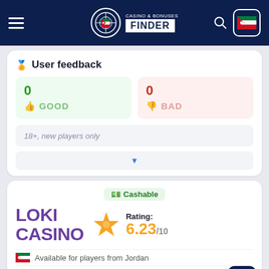Casino & Bonuses Finder
User feedback
0 GOOD
0 BAD
18+, new players only
Cashable
LOKI CASINO
Rating: 6.23/10
Available for players from Jordan
Welcome Bonus: €100
up to 100%